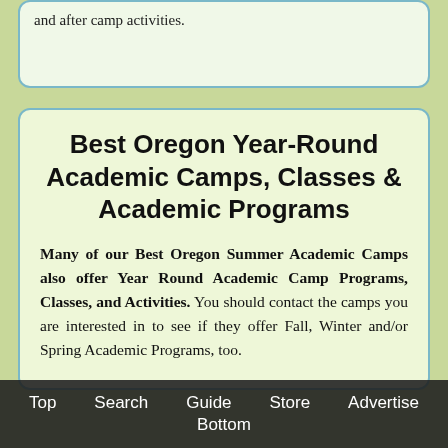and after camp activities.
Best Oregon Year-Round Academic Camps, Classes & Academic Programs
Many of our Best Oregon Summer Academic Camps also offer Year Round Academic Camp Programs, Classes, and Activities. You should contact the camps you are interested in to see if they offer Fall, Winter and/or Spring Academic Programs, too.
Top  Search  Guide  Store  Advertise  Bottom